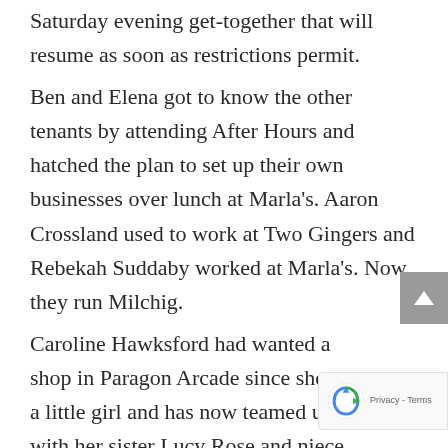Saturday evening get-together that will resume as soon as restrictions permit.
Ben and Elena got to know the other tenants by attending After Hours and hatched the plan to set up their own businesses over lunch at Marla's. Aaron Crossland used to work at Two Gingers and Rebekah Suddaby worked at Marla's. Now they run Milchig.
Caroline Hawksford had wanted a shop in Paragon Arcade since she was a little girl and has now teamed up with her sister Lucy Rose and niece Shannon Bean to open Nordic Rosie and Paper Rosie.
Online sales underpin the retail sites for many of the tenants, but they all benefit from their close proximity of local…